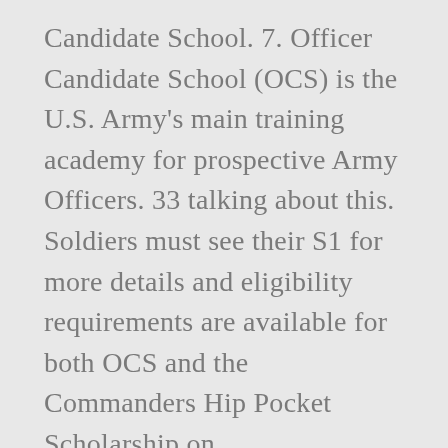Candidate School. 7. Officer Candidate School (OCS) is the U.S. Army's main training academy for prospective Army Officers. 33 talking about this. Soldiers must see their S1 for more details and eligibility requirements are available for both OCS and the Commanders Hip Pocket Scholarship on www.goarmy.com. Press question mark to learn the rest of the keyboard shortcuts. This message expires 30 September 2017 unless earlier rescinded. As a senior-phase candidate, soldiers are tested in their ability to lead a team during an intense 18-day training mission. ... A place to discuss selection to and preparation for Army Officer